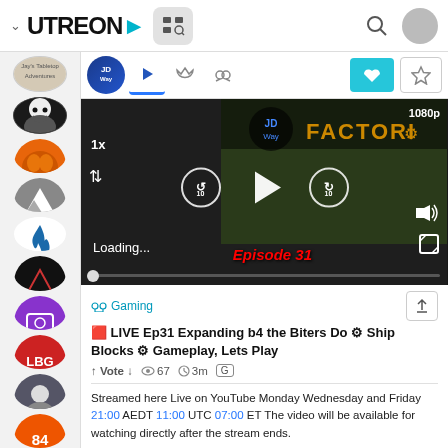UTREON > [nav bar with logo, icons, search, avatar]
[Figure (screenshot): Utreon video platform screenshot showing a Factorio gameplay video titled 'LIVE Ep31 Expanding b4 the Biters Do Ship Blocks Gameplay, Lets Play' loading at 1080p with player controls]
Gaming
🟥 LIVE Ep31 Expanding b4 the Biters Do ⚙ Ship Blocks ⚙ Gameplay, Lets Play
↑ Vote ↓  👁 67  🕐 3m  [G]
Streamed here Live on YouTube Monday Wednesday and Friday 21:00 AEDT 11:00 UTC 07:00 ET The video will be available for watching directly after the stream ends.
Playlist for This Series ▶ https://www.youtube.com/playlist?list=PLpIE0W_m630dtUhilQskQzeDLemyR1RpU